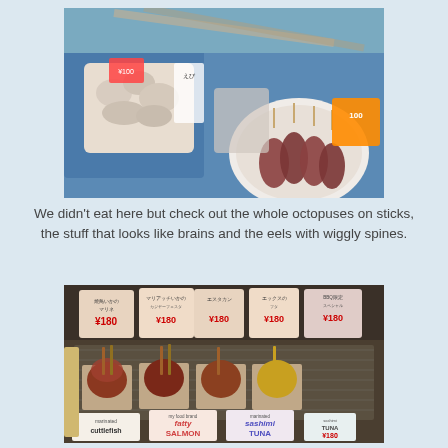[Figure (photo): A Japanese fish market display showing various seafood including what appears to be octopuses on sticks in a bowl, items that look like brains on a tray, and eels arranged on blue trays with Japanese price signs.]
We didn't eat here but check out the whole octopuses on sticks, the stuff that looks like brains and the eels with wiggly spines.
[Figure (photo): A Japanese market stall showing skewered food items in trays on a wire rack with signs showing ¥180 price tags. Labels at the bottom include 'marinated cuttlefish', 'fatty SALMON', 'sashimi TUNA' and other items.]